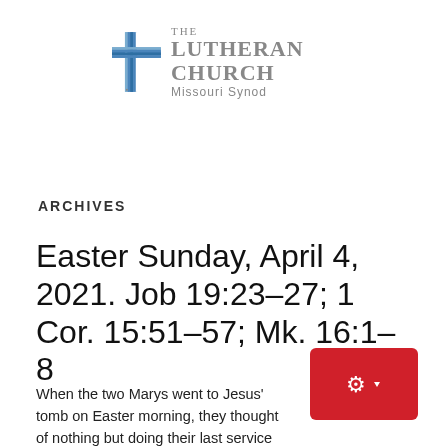[Figure (logo): The Lutheran Church Missouri Synod logo with blue cross and gray text]
ARCHIVES
Easter Sunday, April 4, 2021. Job 19:23–27; 1 Cor. 15:51–57; Mk. 16:1–8
When the two Marys went to Jesus' tomb on Easter morning, they thought of nothing but doing their last service for their deceased Lord. They had wrapped His